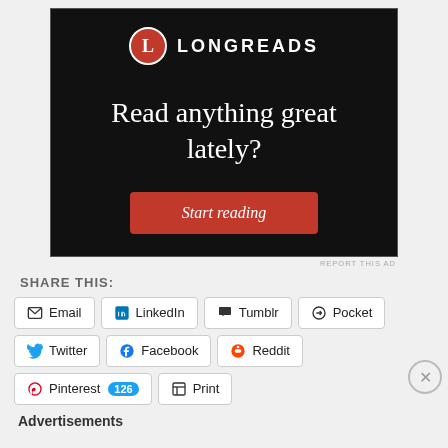[Figure (advertisement): Longreads advertisement with black background. Shows Longreads logo (red circle with L, then LONGREADS text). Headline: 'Read anything great lately?' with a red 'Start reading' button.]
REPORT THIS AD
SHARE THIS:
Email  LinkedIn  Tumblr  Pocket  Twitter  Facebook  Reddit  Pinterest 126  Print
Advertisements